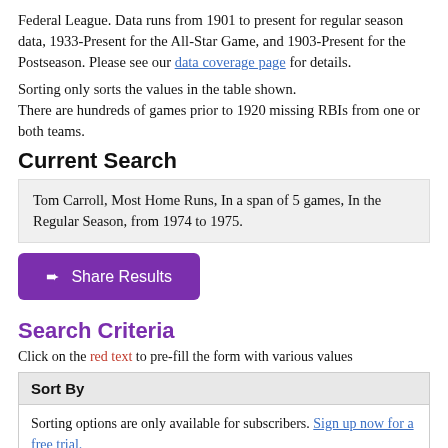Federal League. Data runs from 1901 to present for regular season data, 1933-Present for the All-Star Game, and 1903-Present for the Postseason. Please see our data coverage page for details.
Sorting only sorts the values in the table shown.
There are hundreds of games prior to 1920 missing RBIs from one or both teams.
Current Search
Tom Carroll, Most Home Runs, In a span of 5 games, In the Regular Season, from 1974 to 1975.
➨ Share Results
Search Criteria
Click on the red text to pre-fill the form with various values
Sort By
Sorting options are only available for subscribers. Sign up now for a free trial.
Find Spans for Player (optional)